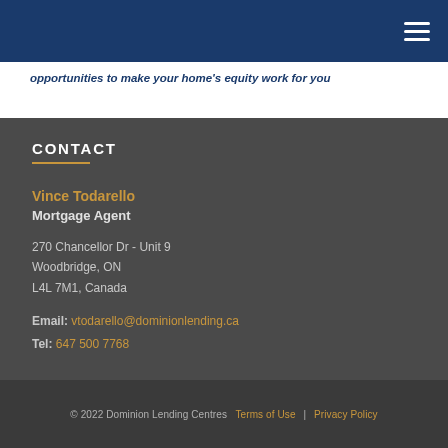opportunities to make your home's equity work for you
CONTACT
Vince Todarello
Mortgage Agent

270 Chancellor Dr - Unit 9
Woodbridge, ON
L4L 7M1, Canada

Email: vtodarello@dominionlending.ca
Tel: 647 500 7768
© 2022 Dominion Lending Centres   Terms of Use   |   Privacy Policy